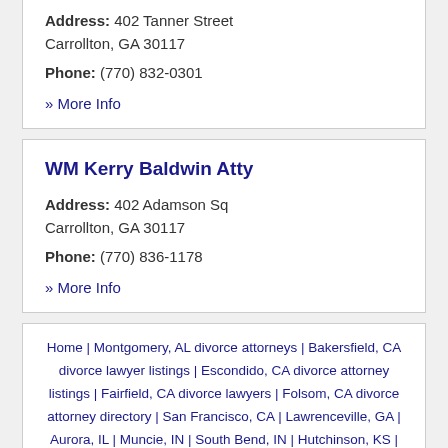Address: 402 Tanner Street Carrollton, GA 30117
Phone: (770) 832-0301
» More Info
WM Kerry Baldwin Atty
Address: 402 Adamson Sq Carrollton, GA 30117
Phone: (770) 836-1178
» More Info
Home | Montgomery, AL divorce attorneys | Bakersfield, CA divorce lawyer listings | Escondido, CA divorce attorney listings | Fairfield, CA divorce lawyers | Folsom, CA divorce attorney directory | San Francisco, CA | Lawrenceville, GA | Aurora, IL | Muncie, IN | South Bend, IN | Hutchinson, KS |